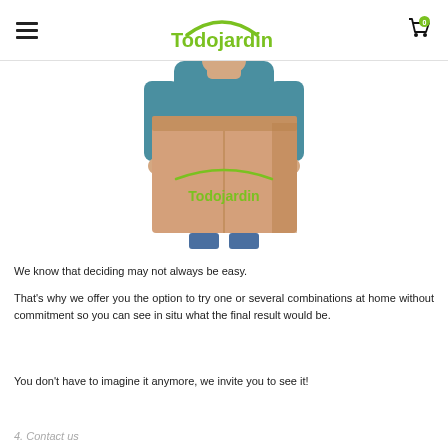Todojardin
[Figure (photo): A person holding a cardboard delivery box branded with the Todojardin logo]
We know that deciding may not always be easy.
That's why we offer you the option to try one or several combinations at home without commitment so you can see in situ what the final result would be.
You don't have to imagine it anymore, we invite you to see it!
4. Contact us